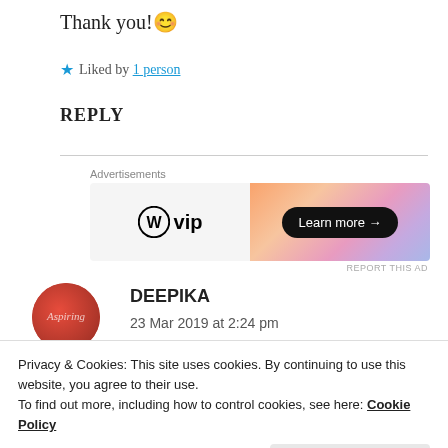Thank you! 😊
★ Liked by 1 person
REPLY
[Figure (other): WordPress VIP advertisement banner with orange/pink gradient and 'Learn more →' button]
REPORT THIS AD
DEEPIKA
23 Mar 2019 at 2:24 pm
Privacy & Cookies: This site uses cookies. By continuing to use this website, you agree to their use. To find out more, including how to control cookies, see here: Cookie Policy
★ Liked by 2 people